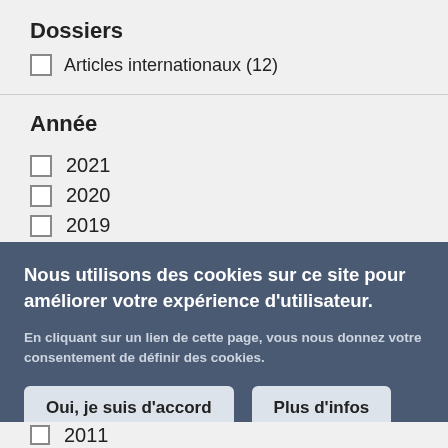Dossiers
Articles internationaux (12)
Année
2021
2020
2019
2018
Nous utilisons des cookies sur ce site pour améliorer votre expérience d'utilisateur.
En cliquant sur un lien de cette page, vous nous donnez votre consentement de définir des cookies.
2011